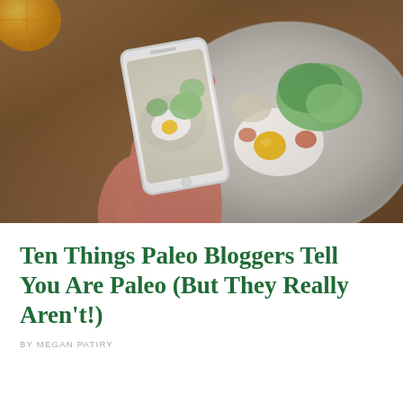[Figure (photo): A person holding a smartphone photographing a plate of food (eggs, lettuce/greens) from above. The phone screen shows the food photo being taken. A round gray plate with eggs, greens, and vegetables is visible on a wooden table surface. An orange slice is visible top left.]
Ten Things Paleo Bloggers Tell You Are Paleo (But They Really Aren't!)
BY MEGAN PATIRY